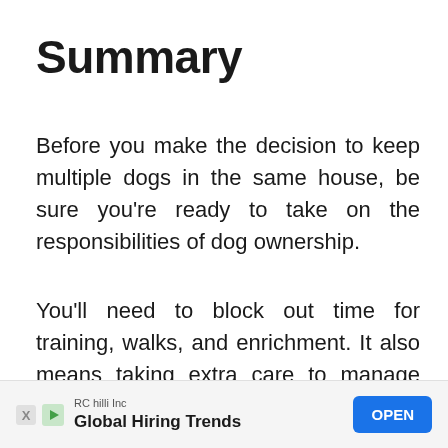Summary
Before you make the decision to keep multiple dogs in the same house, be sure you're ready to take on the responsibilities of dog ownership.
You'll need to block out time for training, walks, and enrichment. It also means taking extra care to manage individual differences and keeping an eye out for inappropriate interactions between dogs.
[Figure (other): Advertisement banner: RC hilli Inc — Global Hiring Trends — OPEN button]